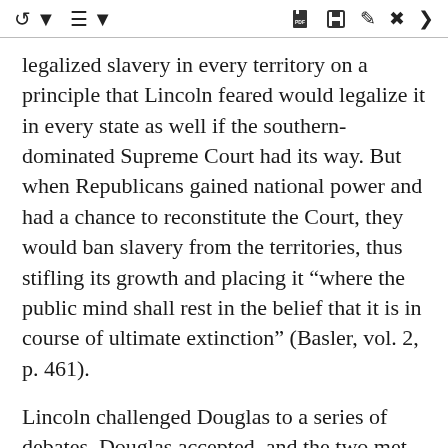Toolbar navigation icons
legalized slavery in every territory on a principle that Lincoln feared would legalize it in every state as well if the southern-dominated Supreme Court had its way. But when Republicans gained national power and had a chance to reconstitute the Court, they would ban slavery from the territories, thus stifling its growth and placing it “where the public mind shall rest in the belief that it is in course of ultimate extinction” (Basler, vol. 2, p. 461).
Lincoln challenged Douglas to a series of debates. Douglas accepted, and the two met in seven three-hour debates in every part of the state. Why could the country not continue to exist half slave and half free as it had for seventy years? asked Douglas.